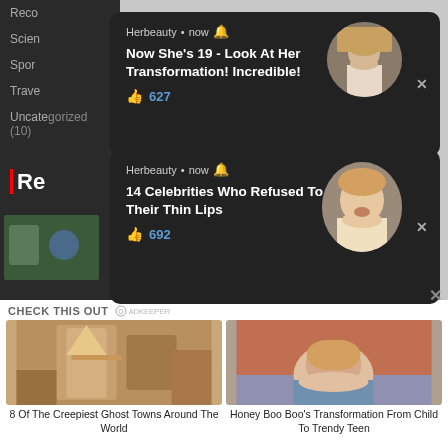Reco
Scien
Spor
Trave
Uncategorized (10)
[Figure (screenshot): Herbeauty notification card 1: 'Now She's 19 - Look At Her Transformation! Incredible!' with 627 likes and circular portrait of young blonde woman]
[Figure (screenshot): Herbeauty notification card 2: '14 Celebrities Who Refused To Increase Their Thin Lips' with 692 likes and circular portrait of blonde woman with open mouth]
CHECK THIS OUT
[Figure (photo): Sand-filled abandoned room interior - ghost town]
8 Of The Creepiest Ghost Towns Around The World
[Figure (photo): Young girl sitting on red couch - Honey Boo Boo]
Honey Boo Boo's Transformation From Child To Trendy Teen